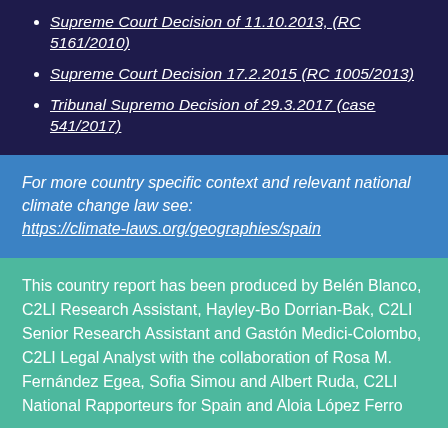Supreme Court Decision of 11.10.2013, (RC 5161/2010)
Supreme Court Decision 17.2.2015 (RC 1005/2013)
Tribunal Supremo Decision of 29.3.2017 (case 541/2017)
For more country specific context and relevant national climate change law see: https://climate-laws.org/geographies/spain
This country report has been produced by Belén Blanco, C2LI Research Assistant, Hayley-Bo Dorrian-Bak, C2LI Senior Research Assistant and Gastón Medici-Colombo, C2LI Legal Analyst with the collaboration of Rosa M. Fernández Egea, Sofia Simou and Albert Ruda, C2LI National Rapporteurs for Spain and Aloia López Ferro